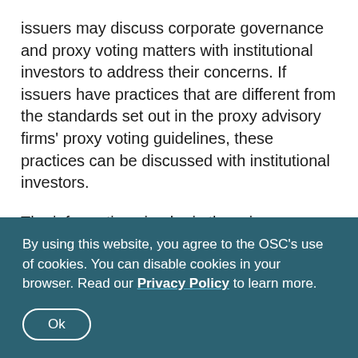issuers may discuss corporate governance and proxy voting matters with institutional investors to address their concerns. If issuers have practices that are different from the standards set out in the proxy advisory firms' proxy voting guidelines, these practices can be discussed with institutional investors.
The information circular is the primary means for issuers to communicate their corporate governance practices to their shareholders. An issuer can include in its information circular a comprehensive discussion of its approach to corporate governance, including the practices of the board of directors and the issuer's
By using this website, you agree to the OSC's use of cookies. You can disable cookies in your browser. Read our Privacy Policy to learn more.
Ok